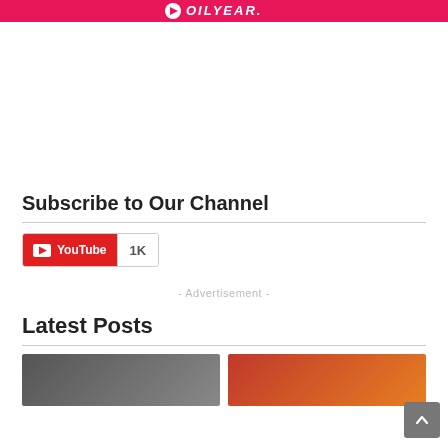OILYEAR.
Subscribe to Our Channel
[Figure (other): YouTube subscribe widget showing YouTube logo button and 1K subscriber count]
- Advertisement -
Latest Posts
[Figure (photo): Two thumbnail images side by side for latest posts]